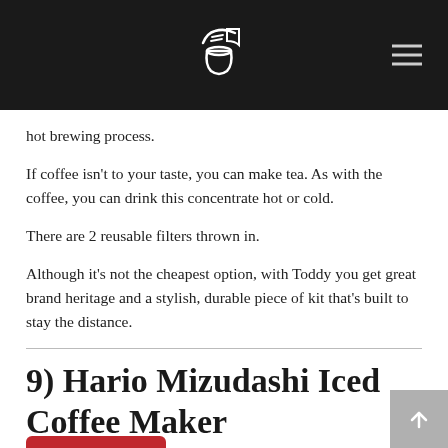hot brewing process.
If coffee isn't to your taste, you can make tea. As with the coffee, you can drink this concentrate hot or cold.
There are 2 reusable filters thrown in.
Although it's not the cheapest option, with Toddy you get great brand heritage and a stylish, durable piece of kit that's built to stay the distance.
9) Hario Mizudashi Iced Coffee Maker